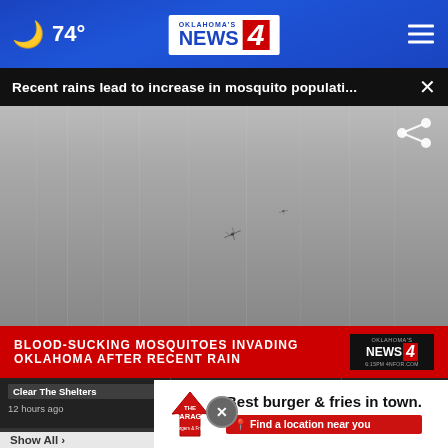74° | Oklahoma's News 4
Recent rains lead to increase in mosquito populati... ×
[Figure (screenshot): Video thumbnail showing blurred background with mosquito silhouette, chyron reading BLOOD-SUCKING MOSQUITOES INVADING OKLAHOMA AFTER RECENT RAIN with Oklahoma's News 4 logo]
Clear The Shelters | 12 hours ago
Clear The Shelters | 3 hours ago
Clear The Shel... | 3 hours ago
[Figure (logo): The Garage Burgers & Fries logo with advertisement: Best burger & fries in town. Find a location near you.]
Show All ›